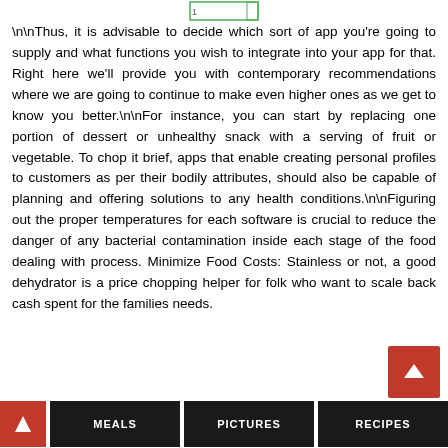[Figure (screenshot): Small thumbnail image at top center of the page]
\n\nThus, it is advisable to decide which sort of app you're going to supply and what functions you wish to integrate into your app for that. Right here we'll provide you with contemporary recommendations where we are going to continue to make even higher ones as we get to know you better.\n\nFor instance, you can start by replacing one portion of dessert or unhealthy snack with a serving of fruit or vegetable. To chop it brief, apps that enable creating personal profiles to customers as per their bodily attributes, should also be capable of planning and offering solutions to any health conditions.\n\nFiguring out the proper temperatures for each software is crucial to reduce the danger of any bacterial contamination inside each stage of the food dealing with process. Minimize Food Costs: Stainless or not, a good dehydrator is a price chopping helper for folk who want to scale back cash spent for the families needs.
[Figure (other): Back to top button — red square with white upward arrow]
MEALS  PICTURES  RECIPES